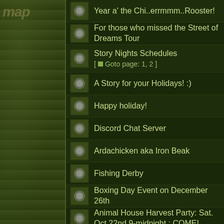Year a' the Chi..errmmm..Rooster!
For those who missed the Street of Dreams Tour
Story Nights Schedules
[ Goto page: 1, 2 ]
A Story for your Holidays! :)
Happy holiday!
Discord Chat Server
Ardachicken aka Iron Beak
Fishing Derby
Boxing Day Event on December 26th
Animal House Harvest Party: Sat. Oct 22nd 9-midnight : COME!
[THEATRICAL] The Battle of Greenfield...